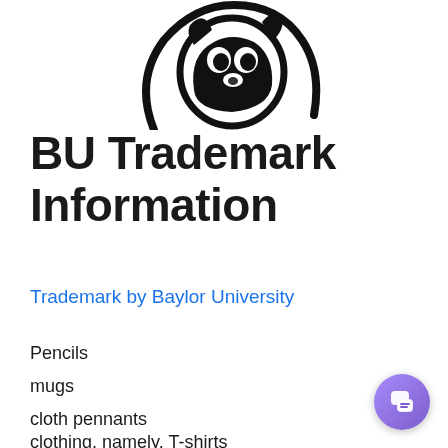[Figure (logo): Partial view of Baylor University bear mascot logo in black ink, cropped at top of page]
BU Trademark Information
Trademark by Baylor University
Pencils
mugs
cloth pennants
clothing, namely, T-shirts